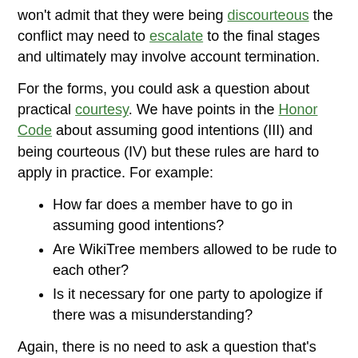won't admit that they were being discourteous the conflict may need to escalate to the final stages and ultimately may involve account termination.
For the forms, you could ask a question about practical courtesy. We have points in the Honor Code about assuming good intentions (III) and being courteous (IV) but these rules are hard to apply in practice. For example:
How far does a member have to go in assuming good intentions?
Are WikiTree members allowed to be rude to each other?
Is it necessary for one party to apologize if there was a misunderstanding?
Again, there is no need to ask a question that's already been asked. You can use any G2G question